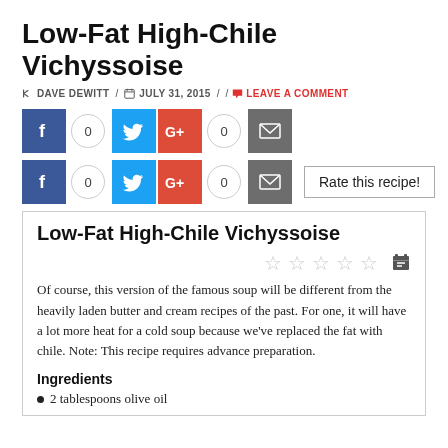Low-Fat High-Chile Vichyssoise
DAVE DEWITT / JULY 31, 2015 / / LEAVE A COMMENT
[Figure (infographic): Social sharing buttons row 1: Facebook (0), Twitter, Google+ (0), Email]
[Figure (infographic): Social sharing buttons row 2: Facebook (0), Twitter, Google+ (0), Email; Rate this recipe! button]
Low-Fat High-Chile Vichyssoise
Of course, this version of the famous soup will be different from the heavily laden butter and cream recipes of the past. For one, it will have a lot more heat for a cold soup because we've replaced the fat with chile. Note: This recipe requires advance preparation.
Ingredients
2 tablespoons olive oil